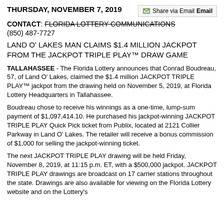THURSDAY, NOVEMBER 7, 2019
CONTACT: FLORIDA LOTTERY COMMUNICATIONS
(850) 487-7727
LAND O' LAKES MAN CLAIMS $1.4 MILLION JACKPOT FROM THE JACKPOT TRIPLE PLAY™ DRAW GAME
TALLAHASSEE - The Florida Lottery announces that Conrad Boudreau, 57, of Land O' Lakes, claimed the $1.4 million JACKPOT TRIPLE PLAY™ jackpot from the drawing held on November 5, 2019, at Florida Lottery Headquarters in Tallahassee.
Boudreau chose to receive his winnings as a one-time, lump-sum payment of $1,097,414.10. He purchased his jackpot-winning JACKPOT TRIPLE PLAY Quick Pick ticket from Publix, located at 2121 Collier Parkway in Land O' Lakes. The retailer will receive a bonus commission of $1,000 for selling the jackpot-winning ticket.
The next JACKPOT TRIPLE PLAY drawing will be held Friday, November 8, 2019, at 11:15 p.m. ET, with a $500,000 jackpot. JACKPOT TRIPLE PLAY drawings are broadcast on 17 carrier stations throughout the state. Drawings are also available for viewing on the Florida Lottery website and on the Lottery's